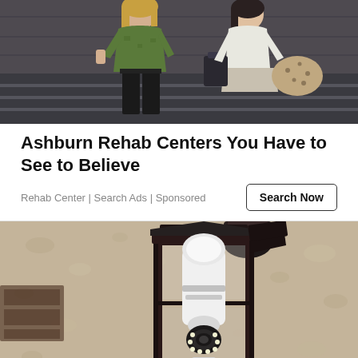[Figure (photo): Two women sitting/posing outdoors on steps, one in green jacket, one in light top, with bags]
Ashburn Rehab Centers You Have to See to Believe
Rehab Center | Search Ads | Sponsored
Search Now
[Figure (photo): A wall-mounted outdoor lantern light fixture with a camera-equipped bulb installed inside it, mounted on a stone/stucco wall]